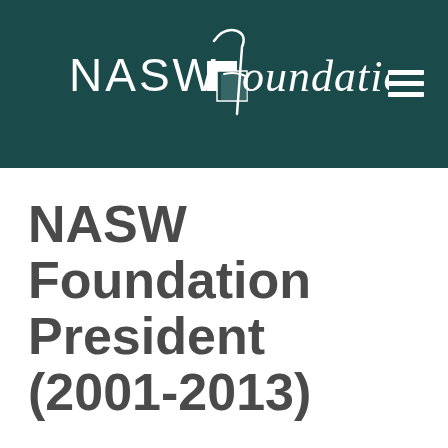[Figure (logo): NASW Foundation logo: white sans-serif text 'NASW' followed by a stylized script 'Foundation' with a decorative 'f' overlapping two overlapping squares graphic, on a dark teal background. A hamburger menu icon is in the top right corner.]
NASW Foundation President (2001-2013)